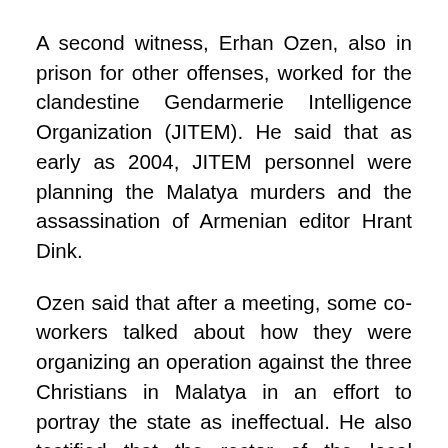A second witness, Erhan Ozen, also in prison for other offenses, worked for the clandestine Gendarmerie Intelligence Organization (JITEM). He said that as early as 2004, JITEM personnel were planning the Malatya murders and the assassination of Armenian editor Hrant Dink.
Ozen said that after a meeting, some co-workers talked about how they were organizing an operation against the three Christians in Malatya in an effort to portray the state as ineffectual. He also testified that the rector of the local university and JITEM were monitoring the activities of the three Christian men.
“He was convincing because he gave many details that were coherent and that confirm each other, so his